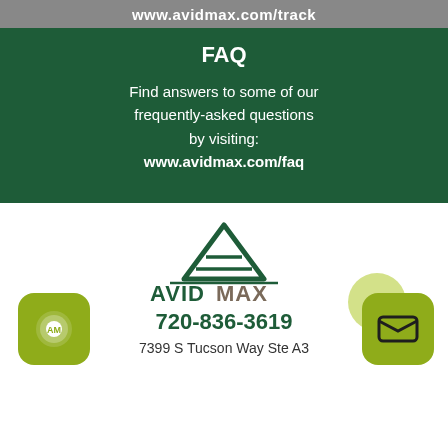www.avidmax.com/track
FAQ
Find answers to some of our frequently-asked questions by visiting: www.avidmax.com/faq
[Figure (logo): AvidMax mountain logo with company name AVIDMAX]
720-836-3619
7399 S Tucson Way Ste A3